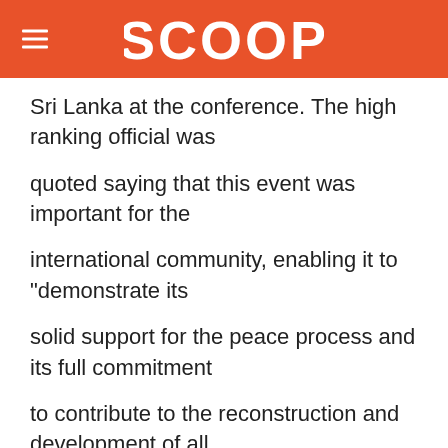SCOOP
Sri Lanka at the conference. The high ranking official was

quoted saying that this event was important for the

international community, enabling it to "demonstrate its

solid support for the peace process and its full commitment

to contribute to the reconstruction and development of all

regions of the country, including the North and East, which

have been devastated by nearly 20 years of conflict."

"Washington intends to back up its statement with letters